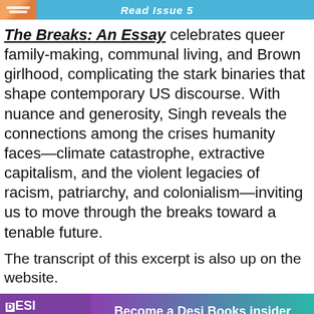Read Issue 5
The Breaks: An Essay celebrates queer family-making, communal living, and Brown girlhood, complicating the stark binaries that shape contemporary US discourse. With nuance and generosity, Singh reveals the connections among the crises humanity faces—climate catastrophe, extractive capitalism, and the violent legacies of racism, patriarchy, and colonialism—inviting us to move through the breaks toward a tenable future.
The transcript of this excerpt is also up on the website.
[Figure (logo): Desi Books South Asian Literature banner with purple and teal gradient background. Text: 'Become a Desi Books insider Get the weekly newsletter']
And now, here's Juliette Singh